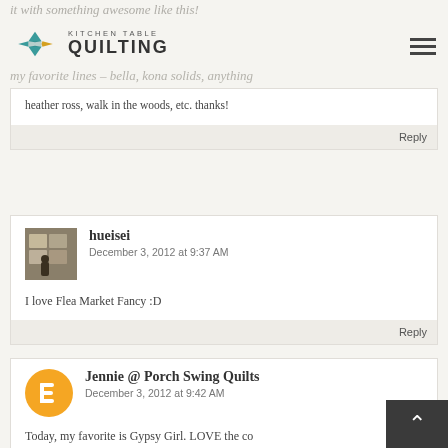Kitchen Table Quilting
it with something awesome like this!
my favorite lines – bella, kona solids, anything heather ross, walk in the woods, etc. thanks!
Reply
hueisei
December 3, 2012 at 9:37 AM
I love Flea Market Fancy :D
Reply
Jennie @ Porch Swing Quilts
December 3, 2012 at 9:42 AM
Today, my favorite is Gypsy Girl. LOVE the co I'm making a basic patchwork quilt for my baby girl.